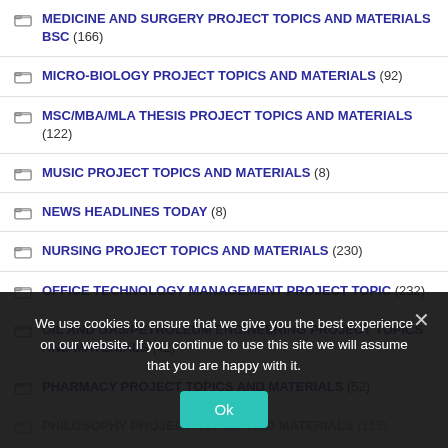MEDICINE AND SURGERY PROJECT TOPICS AND MATERIALS BSC (166)
MICRO-BIOLOGY PROJECT TOPICS AND MATERIALS (92)
MSC/MBA/MLA THESIS PROJECT TOPICS AND MATERIALS (122)
MUSIC PROJECT TOPICS AND MATERIALS (8)
NEWS HEADLINES TODAY (8)
NURSING PROJECT TOPICS AND MATERIALS (230)
OFFICE TECHNOLOGY MANAGEMENT PROJECT TOPIC (232)
OIL AND GAS/PETROLEUM ENGINEERING PROJECT TOPICS AND MATERIALS (42)
PHARMACY PROJECT TOPICS AND MATERIALS (52)
PHILOSOPHY PROJECT TOPICS AND MATERIALS (115)
We use cookies to ensure that we give you the best experience on our website. If you continue to use this site we will assume that you are happy with it.